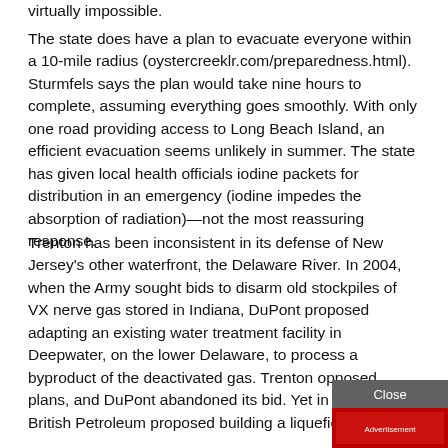virtually impossible.
The state does have a plan to evacuate everyone within a 10-mile radius (oystercreeklr.com/preparedness.html). Sturmfels says the plan would take nine hours to complete, assuming everything goes smoothly. With only one road providing access to Long Beach Island, an efficient evacuation seems unlikely in summer. The state has given local health officials iodine packets for distribution in an emergency (iodine impedes the absorption of radiation)—not the most reassuring response.
Trenton has been inconsistent in its defense of New Jersey's other waterfront, the Delaware River. In 2004, when the Army sought bids to disarm old stockpiles of VX nerve gas stored in Indiana, DuPont proposed adapting an existing water treatment facility in Deepwater, on the lower Delaware, to process a byproduct of the deactivated gas. Trenton opposed plans, and DuPont abandoned its bid. Yet in 2003, wh... British Petroleum proposed building a liquefied natura...
[Figure (other): Close button overlay and advertisement thumbnail in bottom-right corner]